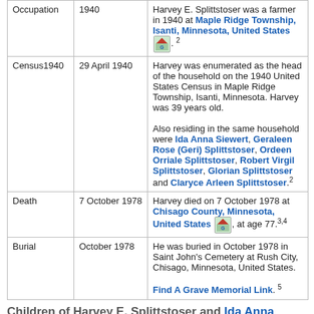|  |  |  |
| --- | --- | --- |
| Occupation | 1940 | Harvey E. Splittstoser was a farmer in 1940 at Maple Ridge Township, Isanti, Minnesota, United States. 2 |
| Census1940 | 29 April 1940 | Harvey was enumerated as the head of the household on the 1940 United States Census in Maple Ridge Township, Isanti, Minnesota. Harvey was 39 years old.

Also residing in the same household were Ida Anna Siewert, Geraleen Rose (Geri) Splittstoser, Ordeen Orriale Splittstoser, Robert Virgil Splittstoser, Glorian Splittstoser and Claryce Arleen Splittstoser.2 |
| Death | 7 October 1978 | Harvey died on 7 October 1978 at Chisago County, Minnesota, United States, at age 77.3,4 |
| Burial | October 1978 | He was buried in October 1978 in Saint John's Cemetery at Rush City, Chisago, Minnesota, United States.

Find A Grave Memorial Link.5 |
Children of Harvey E. Splittstoser and Ida Anna Siewert
Geraleen Rose (Geri) Splittstoser b. 1933
Ordeen Orriale Splittstoser b. 4 Dec 1933
Robert Virgil Splittstoser b. 27 Mar 1935, d. 28 Nov